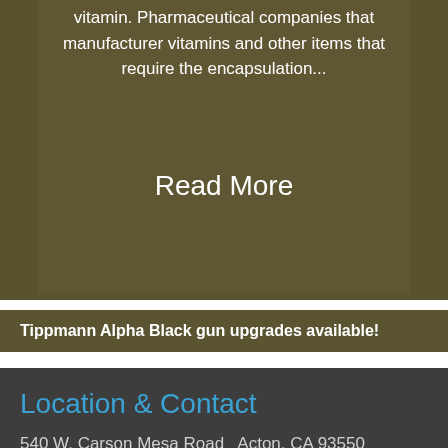vitamin. Pharmaceutical companies that manufacturer vitamins and other items that require the encapsulation...
Read More
Tippmann Alpha Black gun upgrades available!
Location & Contact
540 W. Carson Mesa Road   Acton, CA 93550
(661) 255-5332
The Driving Directions on Google Maps are Incorrect. Use these driving directions and make sure all of your guests in your party follow them as well. From South of the AV. Take 14N, exit #27 Soledad Cyn. Rd., turn left onto Sierra Hwy. turn right onto Angeles Forest Hwy. turn